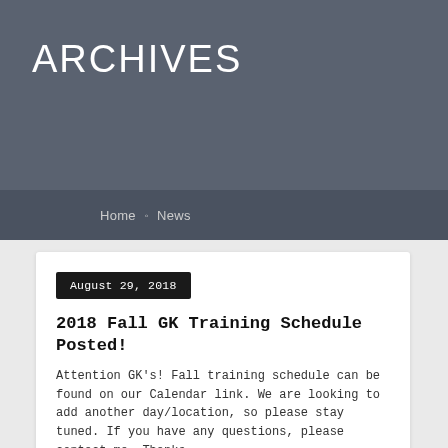ARCHIVES
Home • News
August 29, 2018
2018 Fall GK Training Schedule Posted!
Attention GK's! Fall training schedule can be found on our Calendar link. We are looking to add another day/location, so please stay tuned. If you have any questions, please contact me. Thanks. http://www.njgoalkeeperschool.com/calendar/